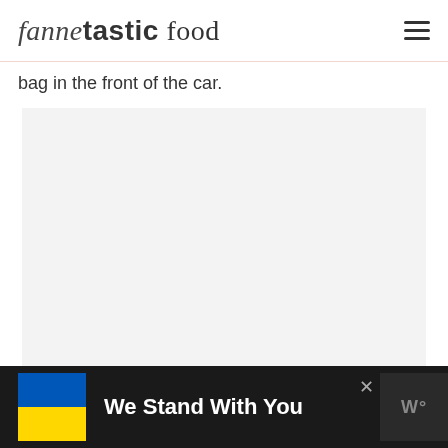fannetastic food
bag in the front of the car.
[Figure (photo): Large light gray placeholder image area]
We Stand With You